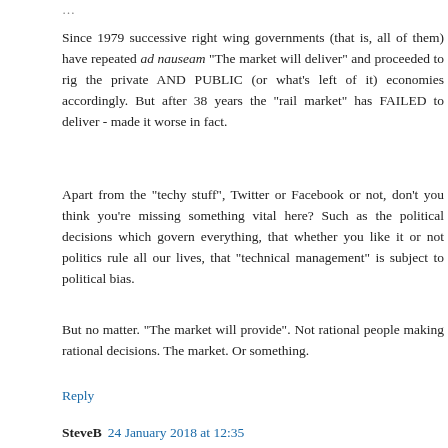Since 1979 successive right wing governments (that is, all of them) have repeated ad nauseam "The market will deliver" and proceeded to rig the private AND PUBLIC (or what's left of it) economies accordingly. But after 38 years the "rail market" has FAILED to deliver - made it worse in fact.
Apart from the "techy stuff", Twitter or Facebook or not, don't you think you're missing something vital here? Such as the political decisions which govern everything, that whether you like it or not politics rule all our lives, that "technical management" is subject to political bias.
But no matter. "The market will provide". Not rational people making rational decisions. The market. Or something.
Reply
SteveB  24 January 2018 at 12:35